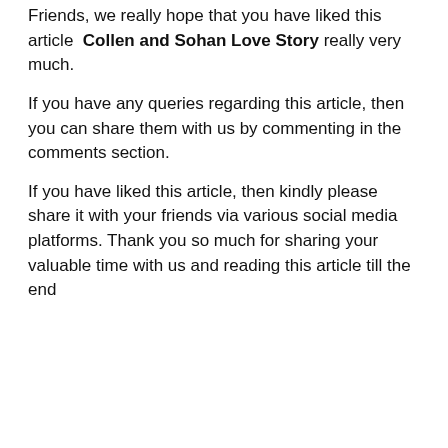Friends, we really hope that you have liked this article  Collen and Sohan Love Story  really very much.
If you have any queries regarding this article, then you can share them with us by commenting in the comments section.
If you have liked this article, then kindly please share it with your friends via various social media platforms. Thank you so much for sharing your valuable time with us and reading this article till the end